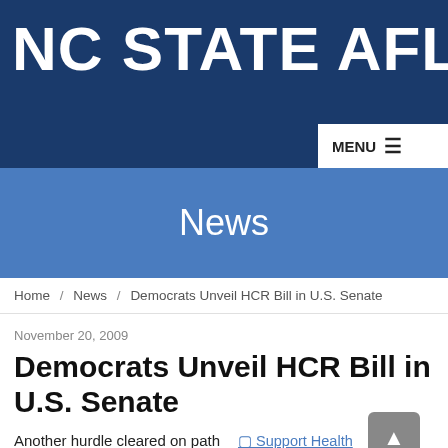NC STATE AFL·CIO
News
Home / News / Democrats Unveil HCR Bill in U.S. Senate
November 20, 2009
Democrats Unveil HCR Bill in U.S. Senate
Another hurdle cleared on path toward reform
[Figure (other): Support Health Care for America placeholder image]